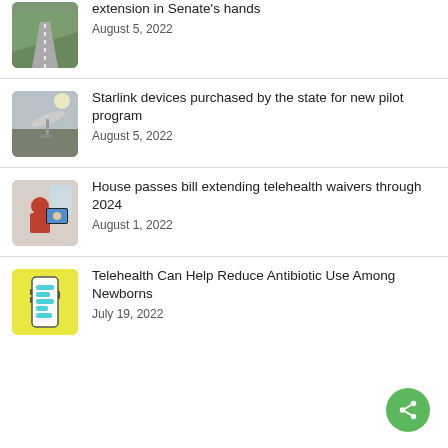[Figure (photo): Aerial road photo thumbnail (partial, cropped at top)]
extension in Senate's hands
August 5, 2022
[Figure (photo): Starlink satellite dish mounted outdoors]
Starlink devices purchased by the state for new pilot program
August 5, 2022
[Figure (photo): Elderly person using tablet for telehealth video call]
House passes bill extending telehealth waivers through 2024
August 1, 2022
[Figure (illustration): Yellow background with white smartphone showing chat bubbles]
Telehealth Can Help Reduce Antibiotic Use Among Newborns
July 19, 2022